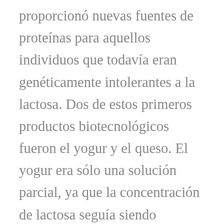proporcionó nuevas fuentes de proteínas para aquellos individuos que todavía eran genéticamente intolerantes a la lactosa. Dos de estos primeros productos biotecnológicos fueron el yogur y el queso. El yogur era sólo una solución parcial, ya que la concentración de lactosa seguía siendo relativamente alta, ya que se reducía de un 5% de lactosa en la leche entera a un 3-4% en el yogur